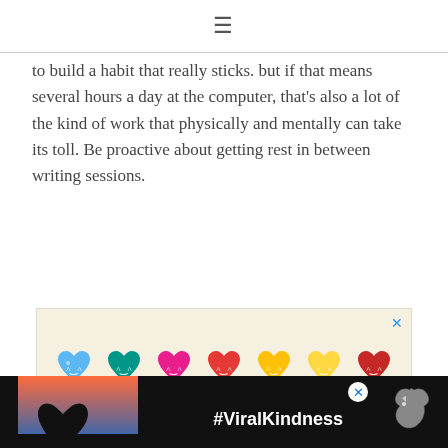≡
to build a habit that really sticks. but if that means several hours a day at the computer, that's also a lot of the kind of work that physically and mentally can take its toll. Be proactive about getting rest in between writing sessions.
[Figure (illustration): Advertisement box with colorful cartoon heart emoji characters arranged in two rows on a beige background, with a close (X) button in the top right corner.]
[Figure (illustration): Bottom banner advertisement showing a silhouette of hands forming a heart shape against a sunset sky, with the text #ViralKindness in white, and a decorative bird/phoenix logo on the right.]